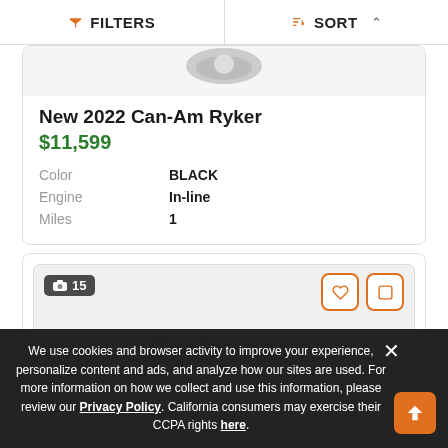FILTERS  SORT
[Figure (photo): Partial vehicle photo (top cropped)]
New 2022 Can-Am Ryker
$11,599
| Color | BLACK |
| Engine | In-line |
| Miles | 1 |
[Figure (photo): Second vehicle listing card with 15 photos badge and watermark]
We use cookies and browser activity to improve your experience, personalize content and ads, and analyze how our sites are used. For more information on how we collect and use this information, please review our Privacy Policy. California consumers may exercise their CCPA rights here.